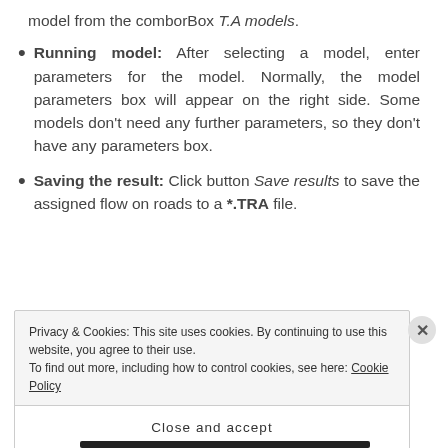model from the comborBox T.A models.
Running model: After selecting a model, enter parameters for the model. Normally, the model parameters box will appear on the right side. Some models don't need any further parameters, so they don't have any parameters box.
Saving the result: Click button Save results to save the assigned flow on roads to a *.TRA file.
Privacy & Cookies: This site uses cookies. By continuing to use this website, you agree to their use.
To find out more, including how to control cookies, see here: Cookie Policy
Close and accept